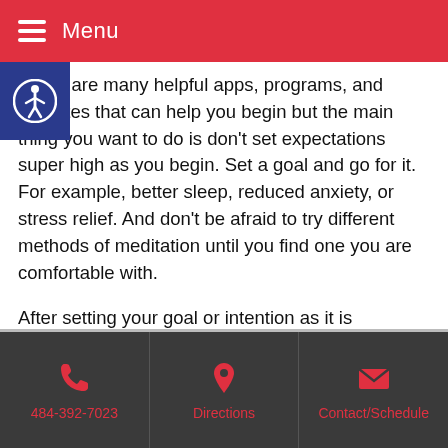Menu
There are many helpful apps, programs, and websites that can help you begin but the main thing you want to do is don't set expectations super high as you begin. Set a goal and go for it. For example, better sleep, reduced anxiety, or stress relief. And don't be afraid to try different methods of meditation until you find one you are comfortable with.
After setting your goal or intention as it is sometimes called, create a space that is comfortable and free of distractions and noise. Some people like to keep things minimalist while others like to add things that make them comfortable or bring joy (like candles, plants essential oils, or special lighting). If you are using a guided meditation app or program, you might consider using earbuds to cut out the distractions and noise.
484-392-7023 | Directions | Contact/Schedule